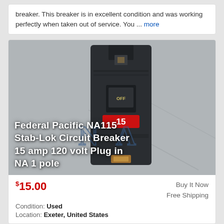breaker. This breaker is in excellent condition and was working perfectly when taken out of service. You ... more
[Figure (photo): Federal Pacific NA115 Stab-Lok Circuit Breaker, a dark gray/black circuit breaker with a red label showing '15', and a switch labeled 'OFF'. White text overlay reads: Federal Pacific NA115 Stab-Lok Circuit Breaker 15 amp 120 volt Plug in NA 1 pole]
$15.00
Buy It Now
Free Shipping
Condition: Used
Location: Exeter, United States